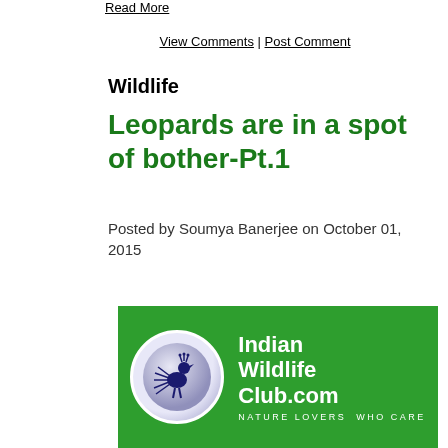Read More
View Comments | Post Comment
Wildlife
Leopards are in a spot of bother-Pt.1
Posted by Soumya Banerjee on October 01, 2015
[Figure (logo): Indian Wildlife Club.com logo — green background with a bird in a circle, tagline NATURE LOVERS WHO CARE]